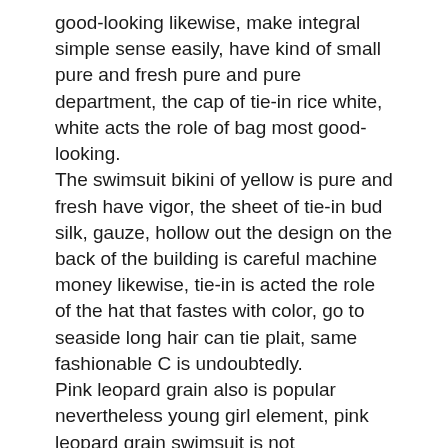good-looking likewise, make integral simple sense easily, have kind of small pure and fresh pure and pure department, the cap of tie-in rice white, white acts the role of bag most good-looking. The swimsuit bikini of yellow is pure and fresh have vigor, the sheet of tie-in bud silk, gauze, hollow out the design on the back of the building is careful machine money likewise, tie-in is acted the role of the hat that fastes with color, go to seaside long hair can tie plait, same fashionable C is undoubtedly. Pink leopard grain also is popular nevertheless young girl element, pink leopard grain swimsuit is not exceptional also, upper body is fashionable reduce age, want feminine flavour to be able to choose the swimsuit that grey pink moves, tie-in blue, camel color outside wrap, deserve to act the role of, earpiece is good-looking. sexy bikini supplierThere are many other